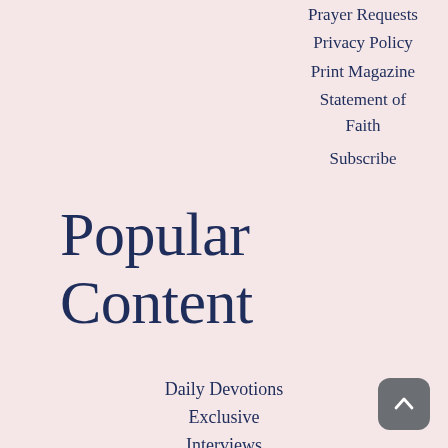Prayer Requests
Privacy Policy
Print Magazine
Statement of Faith
Subscribe
Popular Content
Daily Devotions
Exclusive
Interviews
Faith and Family
Finding